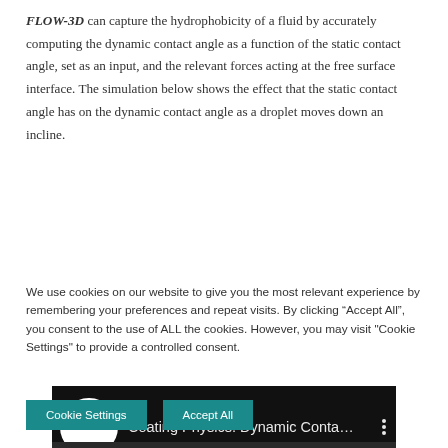FLOW-3D can capture the hydrophobicity of a fluid by accurately computing the dynamic contact angle as a function of the static contact angle, set as an input, and the relevant forces acting at the free surface interface. The simulation below shows the effect that the static contact angle has on the dynamic contact angle as a droplet moves down an incline.
[Figure (screenshot): Video thumbnail showing FLOW-3D logo and title 'Coating Physics: Dynamic Conta...' on dark background with angle labels theta=65, theta=85, theta=120]
We use cookies on our website to give you the most relevant experience by remembering your preferences and repeat visits. By clicking “Accept All”, you consent to the use of ALL the cookies. However, you may visit "Cookie Settings" to provide a controlled consent.
Cookie Settings
Accept All